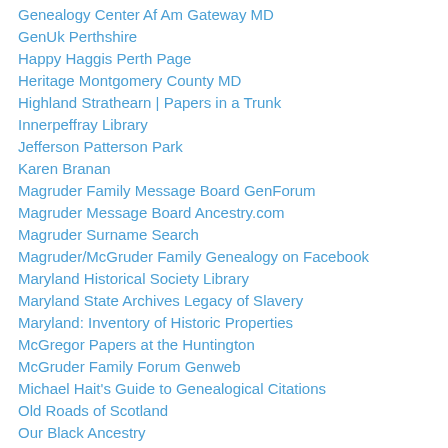Genealogy Center Af Am Gateway MD
GenUk Perthshire
Happy Haggis Perth Page
Heritage Montgomery County MD
Highland Strathearn | Papers in a Trunk
Innerpeffray Library
Jefferson Patterson Park
Karen Branan
Magruder Family Message Board GenForum
Magruder Message Board Ancestry.com
Magruder Surname Search
Magruder/McGruder Family Genealogy on Facebook
Maryland Historical Society Library
Maryland State Archives Legacy of Slavery
Maryland: Inventory of Historic Properties
McGregor Papers at the Huntington
McGruder Family Forum Genweb
Michael Hait's Guide to Genealogical Citations
Old Roads of Scotland
Our Black Ancestry